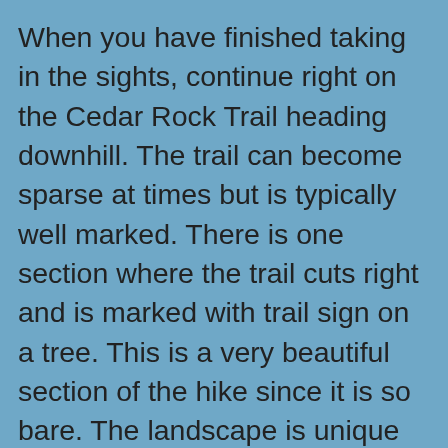When you have finished taking in the sights, continue right on the Cedar Rock Trail heading downhill. The trail can become sparse at times but is typically well marked. There is one section where the trail cuts right and is marked with trail sign on a tree. This is a very beautiful section of the hike since it is so bare. The landscape is unique and you have an almost endless view until you reenter the forest near the bottom of the hill. Keep on the route until you encounter the marked Little River Trail where you will turn right and parallel the Little River for about 1/2 a mile. The Little River Trail will merge back into Corn Mill Shoals trail where you continue back to the parking area and complete this wonderful loop hike inside the